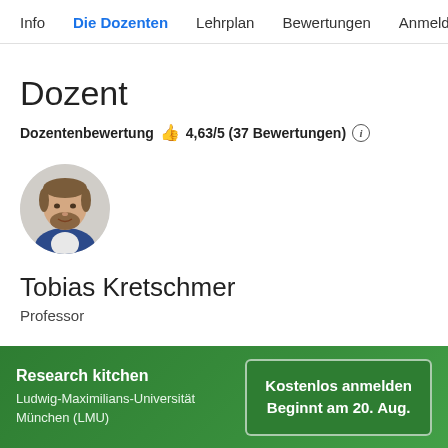Info  Die Dozenten  Lehrplan  Bewertungen  Anmelde
Dozent
Dozentenbewertung 👍 4,63/5 (37 Bewertungen) ℹ
[Figure (photo): Circular profile photo of Tobias Kretschmer, a man with short brown hair and beard wearing a blue suit jacket]
Tobias Kretschmer
Professor
Research kitchen
Ludwig-Maximilians-Universität München (LMU)
Kostenlos anmelden
Beginnt am 20. Aug.